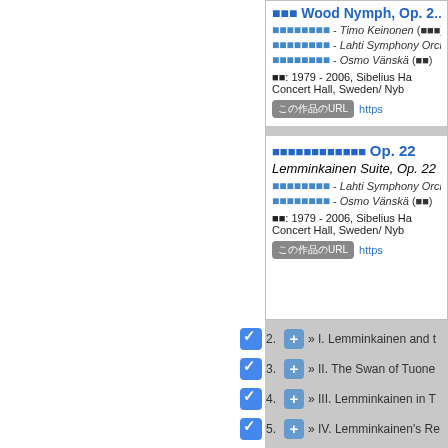■■■ Wood Nymph, Op. 2...
■■■■■■■■ - Timo Keinonen (■■■)
■■■■■■■■ - Lahti Symphony Orchestra
■■■■■■■■ - Osmo Vänskä (■■)
■■: 1979 - 2006, Sibelius Ha Concert Hall, Sweden/ Nyb
この作品のURL  https
■■■■■■■■■■■■ Op. 22
Lemminkainen Suite, Op. 22
■■■■■■■■ - Lahti Symphony Orchestra
■■■■■■■■ - Osmo Vänskä (■■)
■■: 1979 - 2006, Sibelius Ha Concert Hall, Sweden/ Nyb
この作品のURL  https
2. + » I. Lemminkainen and t
3. + » II. The Swan of Tuone
4. + » III. Lemminkainen in T
5. + » IV. Lemminkainen's Re
Disc 8
■■■■■■■■ - Jean Sibelius (1865-1957)